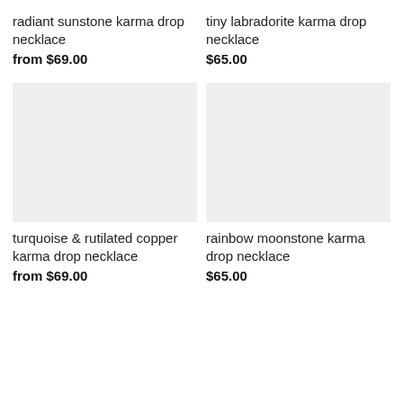radiant sunstone karma drop necklace
from $69.00
tiny labradorite karma drop necklace
$65.00
[Figure (photo): Product image placeholder (light gray rectangle) for turquoise & rutilated copper karma drop necklace]
[Figure (photo): Product image placeholder (light gray rectangle) for rainbow moonstone karma drop necklace]
turquoise & rutilated copper karma drop necklace
from $69.00
rainbow moonstone karma drop necklace
$65.00